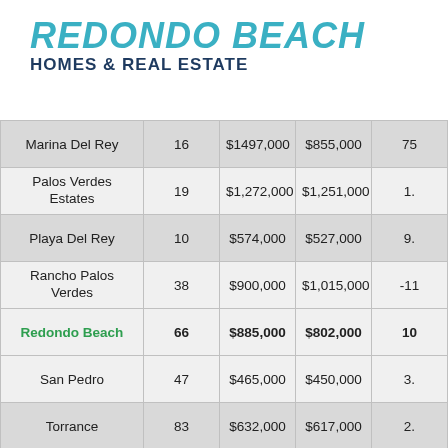REDONDO BEACH HOMES & REAL ESTATE
| Location | Count | Col3 | Col4 | Col5 |
| --- | --- | --- | --- | --- |
| Marina Del Rey | 16 | $1497,000 | $855,000 | 75 |
| Palos Verdes Estates | 19 | $1,272,000 | $1,251,000 | 1. |
| Playa Del Rey | 10 | $574,000 | $527,000 | 9. |
| Rancho Palos Verdes | 38 | $900,000 | $1,015,000 | -11 |
| Redondo Beach | 66 | $885,000 | $802,000 | 10 |
| San Pedro | 47 | $465,000 | $450,000 | 3. |
| Torrance | 83 | $632,000 | $617,000 | 2. |
| Westchester | 22 | $880,000 | $900,000 | -2. |